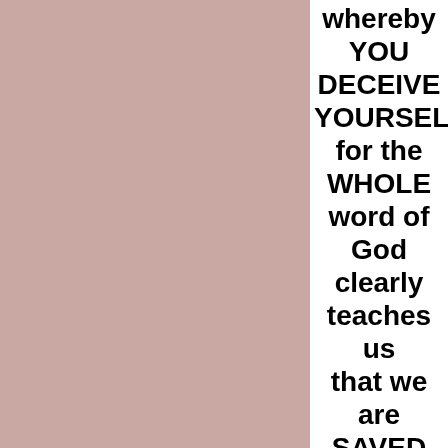[Figure (other): Large pinkish-beige rectangular panel occupying the left portion of the page]
whereby YOU DECEIVE YOURSELF for the WHOLE word of God clearly teaches us that we are SAVED by FAITH and WORKS!